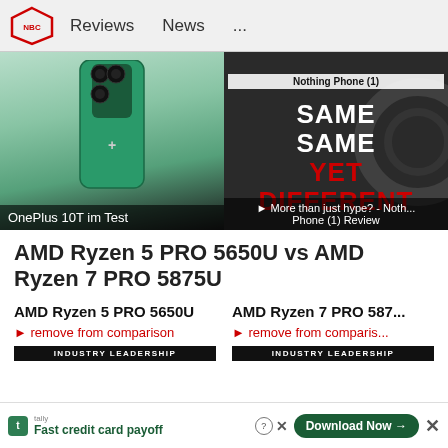NOTEBOOKCHECK — Reviews  News  ...
[Figure (photo): OnePlus 10T smartphone back view in green/teal color with camera module]
OnePlus 10T im Test
[Figure (screenshot): Nothing Phone (1) review video thumbnail with text: SAME SAME YET DIFFERENT]
More than just hype? - Nothing Phone (1) Review
AMD Ryzen 5 PRO 5650U vs AMD Ryzen 7 PRO 5875U
AMD Ryzen 5 PRO 5650U
▶ remove from comparison
AMD Ryzen 7 PRO 5875U
▶ remove from comparison
INDUSTRY LEADERSHIP
INDUSTRY LEADERSHIP
tally — Fast credit card payoff — Download Now →